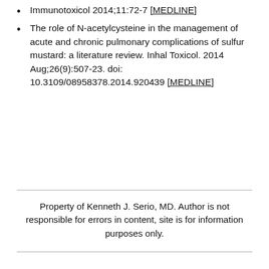Immunotoxicol 2014;11:72-7 [MEDLINE]
The role of N-acetylcysteine in the management of acute and chronic pulmonary complications of sulfur mustard: a literature review. Inhal Toxicol. 2014 Aug;26(9):507-23. doi: 10.3109/08958378.2014.920439 [MEDLINE]
Property of Kenneth J. Serio, MD. Author is not responsible for errors in content, site is for information purposes only.